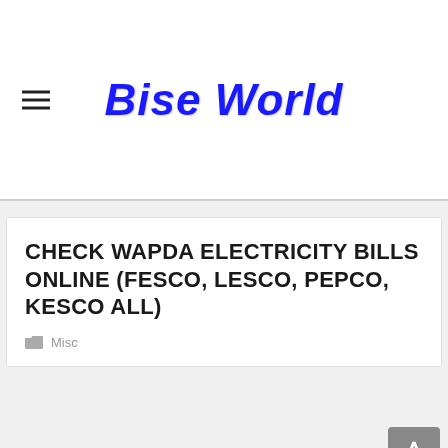Bise World
CHECK WAPDA ELECTRICITY BILLS ONLINE (FESCO, LESCO, PEPCO, KESCO ALL)
Misc